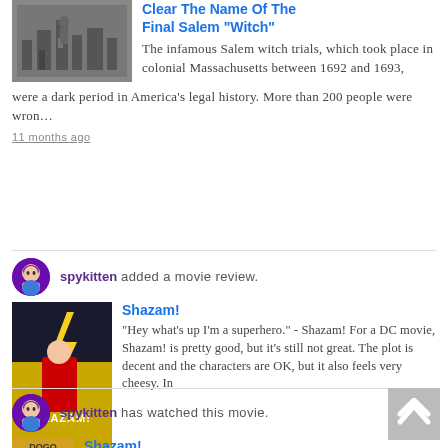[Figure (photo): Black and white historical photo related to Salem witch trials]
Clear The Name Of The Final Salem "Witch"
The infamous Salem witch trials, which took place in colonial Massachusetts between 1692 and 1693, were a dark period in America's legal history. More than 200 people were wron…
11 months ago
spykitten added a movie review.
[Figure (photo): Shazam! movie poster]
Shazam!
"Hey what's up I'm a superhero." - Shazam! For a DC movie, Shazam! is pretty good, but it's still not great. The plot is decent and the characters are OK, but it also feels very cheesy. In most superhero movies the final battle against the supervillain is usually interesting, but it is probably one of the worst parts of this movie. I would probably rate this movie 3.5/5 popcorn, but I would only recommend if you were a huge DC fan or something.
About 1 year ago
spykitten has watched this movie.
Shazam!
About 1 year ago
[Figure (photo): Ticket stub placeholder for Shazam!]